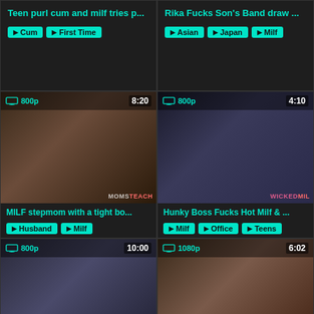Teen purl cum and milf tries p...
Cum | First Time
Rika Fucks Son's Band draw ...
Asian | Japan | Milf
[Figure (photo): Video thumbnail - woman in green jacket, MOMSTEACH watermark, 800p, 8:20]
MILF stepmom with a tight bo...
Husband | Milf
[Figure (photo): Video thumbnail - office scene, WICKEDMILF watermark, 800p, 4:10]
Hunky Boss Fucks Hot Milf & ...
Milf | Office | Teens
[Figure (photo): Video thumbnail - bathroom scene, 800p, 10:00]
bdsm rough sex - Teens disro...
[Figure (photo): Video thumbnail - couch scene, 1080p, 6:02]
Usher MILF Loves Ass Corrig...